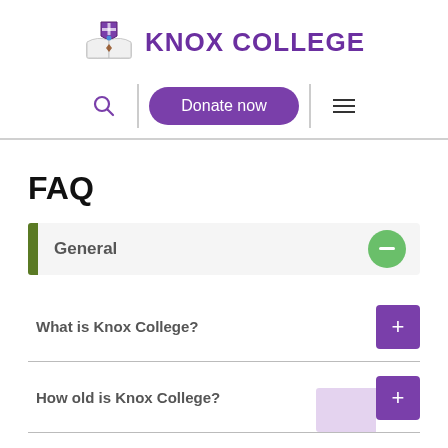[Figure (logo): Knox College crest/logo with open book and shield]
KNOX COLLEGE
[Figure (other): Navigation bar with search icon, Donate now button, and hamburger menu]
FAQ
General
What is Knox College?
How old is Knox College?